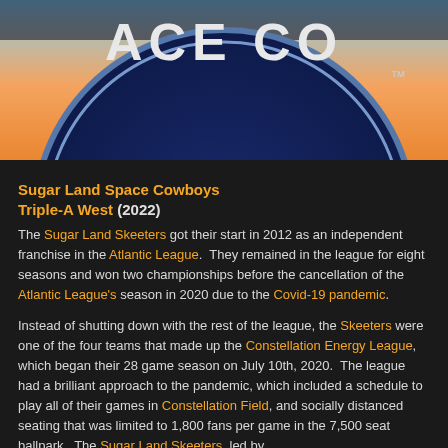[Figure (photo): Partial circular logo of Sugar Land Space Cowboys team on a dark blue/orange background, showing text 'ACE COW' and 'TM' mark.]
Sugar Land Space Cowboys
Triple-A West (2022)
The Sugar Land Skeeters got their start in 2012 as an independent franchise in the Atlantic League.  They remained in the league for eight seasons and won two championships before the cancellation of the Atlantic League's season in 2020 due to the Covid-19 pandemic.
Instead of shutting down with the rest of the league, the Skeeters were one of the four teams that made up the Constellation Energy League, which began their 28 game season on July 10th, 2020.  The league had a brilliant approach to the pandemic, which included a schedule to play all of their games in Constellation Field, and socially distanced seating that was limited to 1,800 fans per game in the 7,500 seat ballpark.  The Sugar Land Skeeters, led by